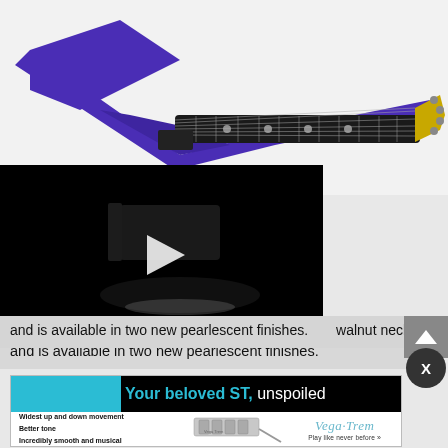[Figure (photo): Purple electric guitar (flying V style) with dark fretboard and gold headstock on white background]
[Figure (screenshot): Video player thumbnail showing dark background with guitar bridge hardware and a white play button triangle in center]
walnut neck and is available in two new pearlescent finishes.
[Figure (infographic): Advertisement for Vega-Trem tremolo system. Headline: 'Your beloved ST, unspoiled'. Features listed: Widest up and down movement, Better tone, Incredibly smooth and musical. Shows image of tremolo bridge hardware. Vega-Trem logo with tagline 'Play like never before'.]